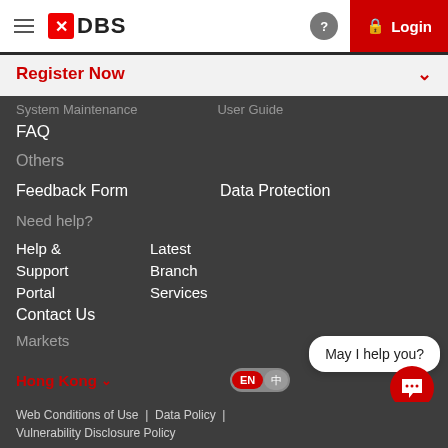DBS Login
Register Now
System Maintenance   User Guide
FAQ
Others
Feedback Form
Data Protection
Need help?
Help & Support Portal
Latest Branch Services
Contact Us
Markets
Hong Kong
[Figure (screenshot): Language toggle showing EN selected]
May I help you?
Web Conditions of Use | Data Policy | Vulnerability Disclosure Policy